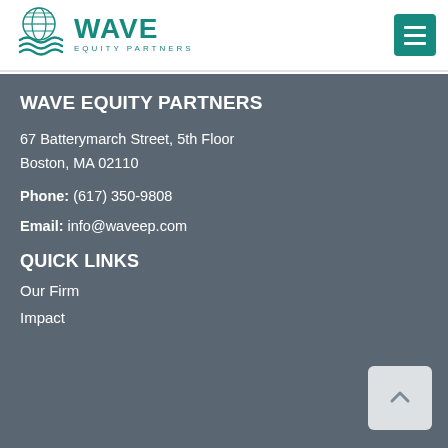[Figure (logo): Wave Equity Partners logo with teal wave/globe icon and WAVE EQUITY PARTNERS text]
WAVE EQUITY PARTNERS
67 Batterymarch Street, 5th Floor
Boston, MA 02110
Phone: (617) 350-9808
Email: info@waveep.com
QUICK LINKS
Our Firm
Impact